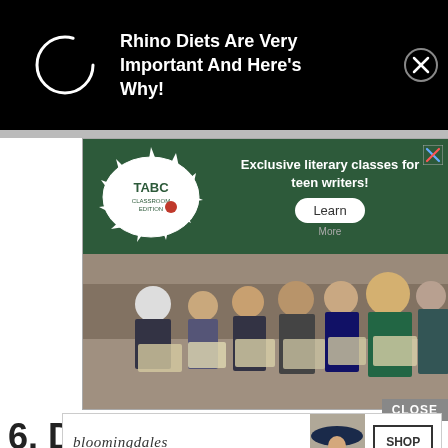[Figure (screenshot): Top ad banner on black background showing a loading spinner circle and text 'Rhino Diets Are Very Important And Here's Why!' with a close (X) button]
[Figure (screenshot): TABC Classroom Edition advertisement banner in dark green showing logo and text 'Exclusive literary classes for teen writers!' with a Learn More button, overlaid on a photo of students sitting in rows at an event, taking notes]
[Figure (screenshot): Bloomingdale's advertisement: 'View Today's Top Deals!' with a model wearing a hat and a 'SHOP NOW >' button]
6. D